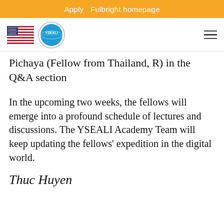Apply   Fulbright homepage
[Figure (logo): US flag and YSEALI logo with hamburger menu icon]
Pichaya (Fellow from Thailand, R) in the Q&A section
In the upcoming two weeks, the fellows will emerge into a profound schedule of lectures and discussions. The YSEALI Academy Team will keep updating the fellows’ expedition in the digital world.
Thuc Huyen